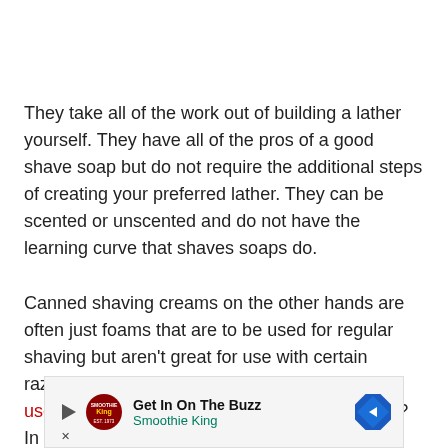They take all of the work out of building a lather yourself. They have all of the pros of a good shave soap but do not require the additional steps of creating your preferred lather. They can be scented or unscented and do not have the learning curve that shaves soaps do.
Canned shaving creams on the other hands are often just foams that are to be used for regular shaving but aren't great for use with certain razors. For example, many people ask, can you use regular shaving cream with a straight razor? In general, we do not recommend it.
Cons of Shaving Creams
[Figure (other): Advertisement banner for Smoothie King. Shows a play button icon, Smoothie King logo, text 'Get In On The Buzz' and 'Smoothie King', and a blue diamond-shaped arrow icon.]